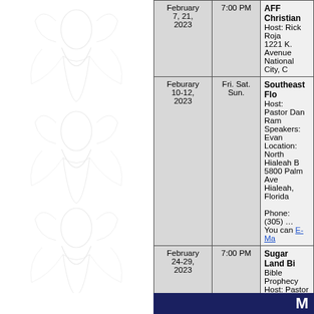[Figure (illustration): Light grey watermark illustration of religious figures/angels on left side of page]
| Date | Time | Event/Location |
| --- | --- | --- |
| February 7, 21, 2023 | 7:00 PM | AFF Christian... Host: Rick Roja... 1221 K. Avenue... National City, C... |
| Feburary 10-12, 2023 | Fri. Sat. Sun. | Southeast Flo... Host: Pastor Dan Ram... Speakers: Evan... Location: North Hialeah B... 5800 Palm Ave... Hialeah, Florida... Phone: (305)... You can E-Ma... |
| February 24-29, 2023 | 7:00 PM | Sugar Land Bi... Bible Prophecy... Host: Pastor An... Speakers: Dr. A... 401 Matlage W... Sugar Land, TX... |
M